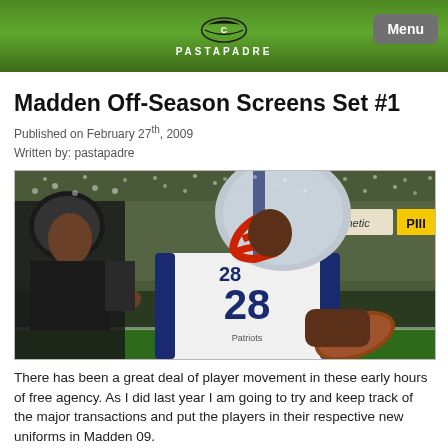PASTAPADRE
Madden Off-Season Screens Set #1
Published on February 27th, 2009
Written by: pastapadre
[Figure (screenshot): Madden NFL video game screenshot showing a New England Patriots player wearing jersey number 28 with a red facemask helmet, carrying the football, with a Raiders defender in the background and a stadium crowd visible. A 'synthetic' advertising banner is visible in the background.]
There has been a great deal of player movement in these early hours of free agency. As I did last year I am going to try and keep track of the major transactions and put the players in their respective new uniforms in Madden 09.